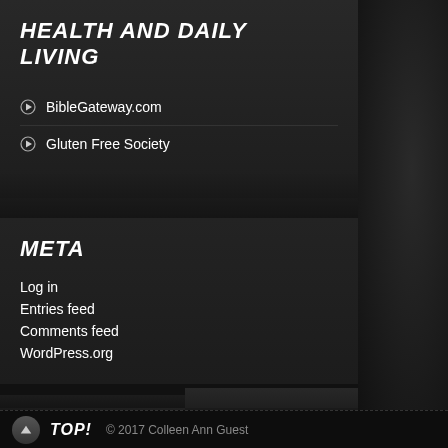HEALTH AND DAILY LIVING
BibleGateway.com
Gluten Free Society
META
Log in
Entries feed
Comments feed
WordPress.org
TOP! © 2017 Colleen Ann Guest